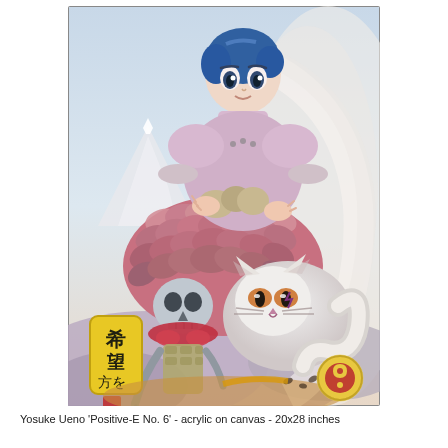[Figure (illustration): A colorful acrylic painting by Yosuke Ueno titled 'Positive-E No. 6'. The painting depicts a stylized anime-style girl with blue hair wearing a lavender dress adorned with golden jewelry, sitting atop a creature covered in pink and red feather-like scales. Below her is a skeletal samurai figure and a white cat-like beast with fierce eyes. There is a yellow cartouche with Japanese calligraphy on the left side. The background features soft clouds, a mountain peak, and swirling mist. A decorative yin-yang eye motif appears in the lower right corner.]
Yosuke Ueno 'Positive-E No. 6' - acrylic on canvas - 20x28 inches